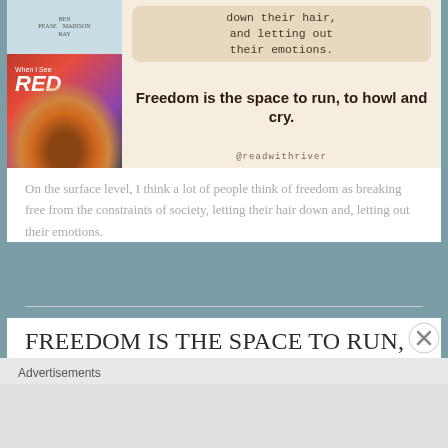[Figure (illustration): Social media post card showing a book cover for 'When I See RED' on the left with an artistic illustration of a person with hair in the wind, and on the right a beige background with text: 'down their hair, and letting out their emotions. Freedom is the space to run, to howl and cry. @readwithriver']
On the surface level, I think a lot of people think of freedom as breaking free from the constraints of society, letting their hair down and, letting out their emotions.
Freedom is the space to run, to howl and cry.
Advertisements